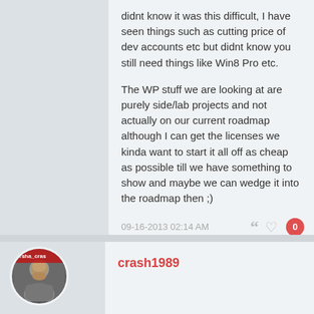didnt know it was this difficult, I have seen things such as cutting price of dev accounts etc but didnt know you still need things like Win8 Pro etc.
The WP stuff we are looking at are purely side/lab projects and not actually on our current roadmap although I can get the licenses we kinda want to start it all off as cheap as possible till we have something to show and maybe we can wedge it into the roadmap then ;)
I am a WP fan/user just not a developer, just seems MS could have made it cheaper & easier to get devs on board?
09-16-2013 02:14 AM
crash1989